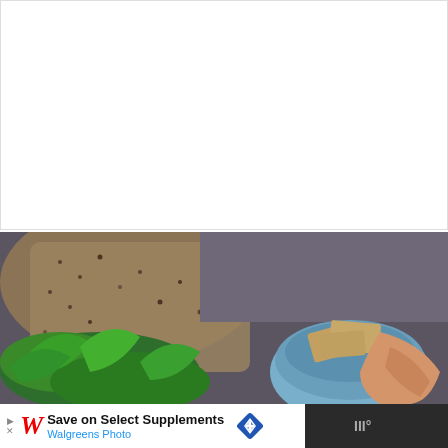[Figure (illustration): White blank rectangle area at top of page, appears to be an empty content placeholder or ad space]
[Figure (photo): Food photograph showing crackers/flatbreads with seeds, fresh green herbs/spinach, a small bowl of crackers, and a hand reaching for crackers. Background has a dark gray/purple cloth. Overlaid with heart/like button (teal circle, 192 saves), share button, and a 'What's Next' preview card showing 'Olive Chickpea...' recipe]
[Figure (infographic): Advertisement bar at bottom: Walgreens ad saying 'Save on Select Supplements' and 'Walgreens Photo' with logo, navigation arrow diamond icon. Right side dark panel with III° icon.]